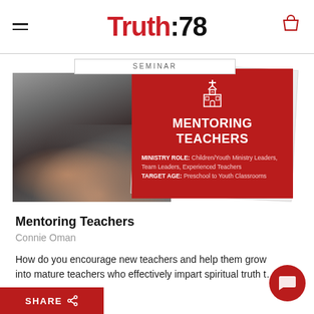Truth:78
[Figure (illustration): Seminar product card for 'Mentoring Teachers' showing a photo of hands on a table, overlaid with a red card showing a church icon, title 'MENTORING TEACHERS', MINISTRY ROLE: Children/Youth Ministry Leaders, Team Leaders, Experienced Teachers, TARGET AGE: Preschool to Youth Classrooms]
Mentoring Teachers
Connie Oman
How do you encourage new teachers and help them grow into mature teachers who effectively impart spiritual truth t…